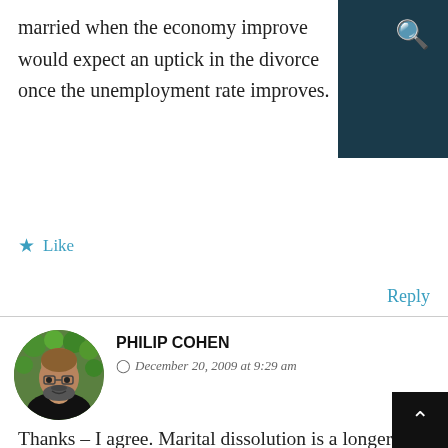married when the economy improve would expect an uptick in the divorce once the unemployment rate improves.
★ Like
Reply
PHILIP COHEN
December 20, 2009 at 9:29 am
[Figure (photo): Circular avatar photo of Philip Cohen, a man with glasses and a beard, wearing a black shirt, against a green leafy background]
Thanks – I agree. Marital dissolution is a longer-term process that may be recorded as a discrete event (divorce) in court at a single, almost arbitrary point in time. Unemployment may affect the timing – and the real estate thing is a